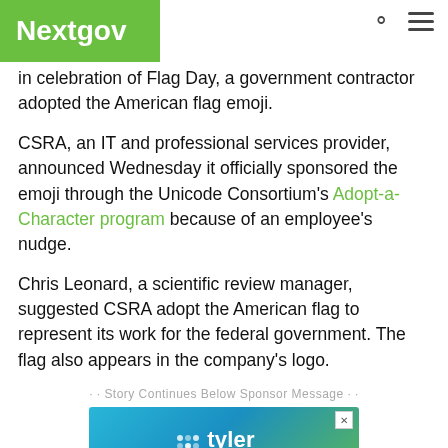Nextgov
in celebration of Flag Day, a government contractor adopted the American flag emoji.
CSRA, an IT and professional services provider, announced Wednesday it officially sponsored the emoji through the Unicode Consortium's Adopt-a-Character program because of an employee's nudge.
Chris Leonard, a scientific review manager, suggested CSRA adopt the American flag to represent its work for the federal government. The flag also appears in the company's logo.
· · Story Continues Below Sponsor Message · ·
[Figure (other): Advertisement for Tyler Technologies: 'Empowering people who serve the public.']